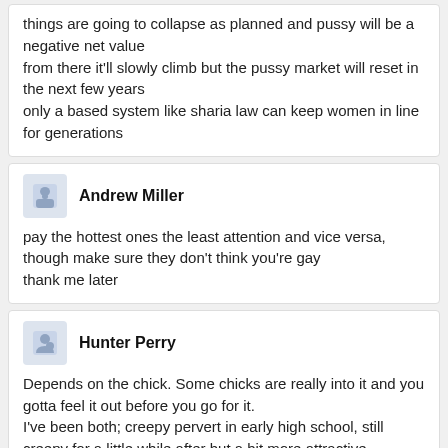things are going to collapse as planned and pussy will be a negative net value
from there it'll slowly climb but the pussy market will reset in the next few years
only a based system like sharia law can keep women in line for generations
Andrew Miller
pay the hottest ones the least attention and vice versa, though make sure they don't think you're gay
thank me later
Hunter Perry
Depends on the chick. Some chicks are really into it and you gotta feel it out before you go for it.
I've been both; creepy pervert in early high school, still creepy for a little while after but a bit more attractive.
Was given a break by moving to a new town.